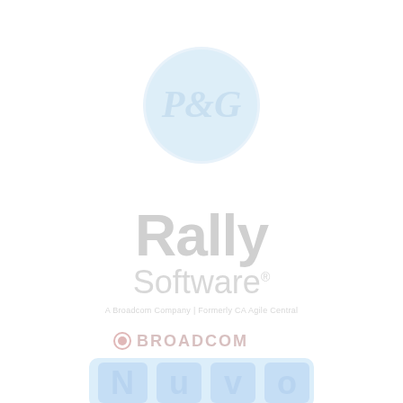[Figure (logo): P&G (Procter & Gamble) circular logo in light blue/white watermark style]
[Figure (logo): Rally Software logo in light gray watermark style, with 'Rally' in large bold text and 'Software' below, with a registered trademark subtitle line]
[Figure (logo): Broadcom logo in light pink/gray watermark style with small gear icon]
[Figure (logo): Nuvo logo partially visible at bottom in light blue style]